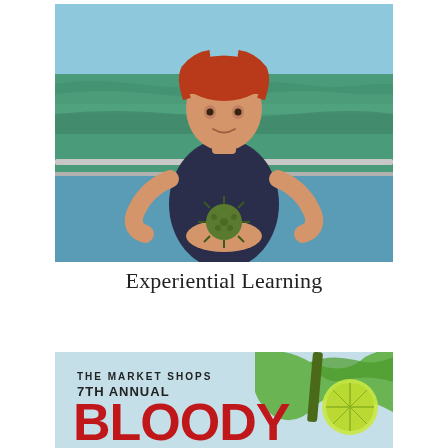[Figure (photo): A red-haired child in a dark navy Florida shirt standing on a boat, holding a sea urchin in their outstretched hands toward the camera. The ocean and a boat railing are visible in the background on a sunny day.]
Experiential Learning
[Figure (photo): Advertisement graphic for 'The Market Shops 7th Annual Bloody' event, featuring bold red text on a light blue/teal background with a green splash and lime/celery garnish imagery.]